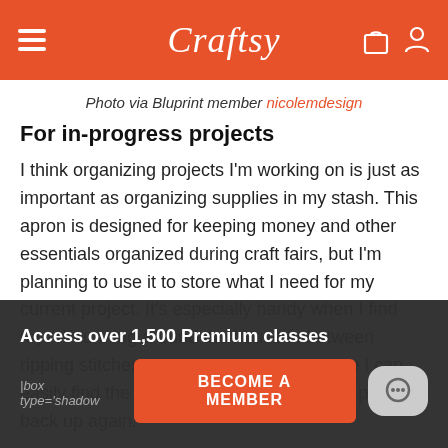Craftsy
Photo via Bluprint member nicolemdesign
For in-progress projects
I think organizing projects I'm working on is just as important as organizing supplies in my stash. This apron is designed for keeping money and other essentials organized during craft fairs, but I'm planning to use it to store what I need for my current project. It's especially handy when I find myself running around the house in between ripping stitches and hand sewing, because I can easily find the tools I need when I pick the project back up again.
Access over 1,500 Premium classes
BECOME A MEMBER